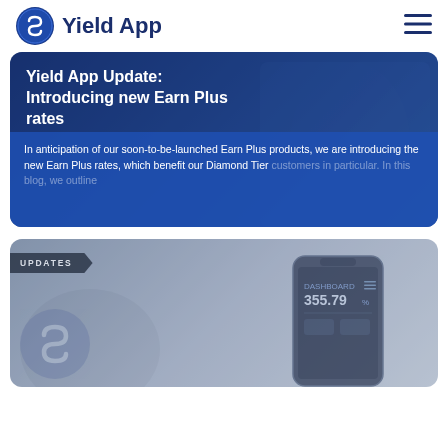Yield App
[Figure (screenshot): Yield App blog card with dark blue background showing title 'Yield App Update: Introducing new Earn Plus rates' and description text about Earn Plus products and Diamond Tier customers]
Yield App Update: Introducing new Earn Plus rates
In anticipation of our soon-to-be-launched Earn Plus products, we are introducing the new Earn Plus rates, which benefit our Diamond Tier customers in particular. In this blog, we outline
[Figure (screenshot): Second Yield App card showing a mobile phone screenshot with dashboard and amount 355.79, with Yield App logo watermark and UPDATES tag]